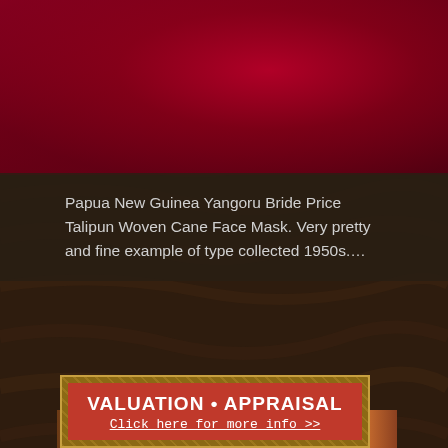[Figure (photo): Close-up photo of a Papua New Guinea tribal face mask or artifact with crimson/deep red fabric or material visible]
Papua New Guinea Yangoru Bride Price Talipun Woven Cane Face Mask. Very pretty and fine example of type collected 1950s....
[Figure (infographic): Valuation and Appraisal promotional banner with ornate tan/gold border on wood background, red inner panel with white bold text 'VALUATION • APPRAISAL' and underlined link 'Click here for more info >>']
[Figure (photo): Bottom strip showing wooden artifacts or frames, partial view with warm brown and gold tones]